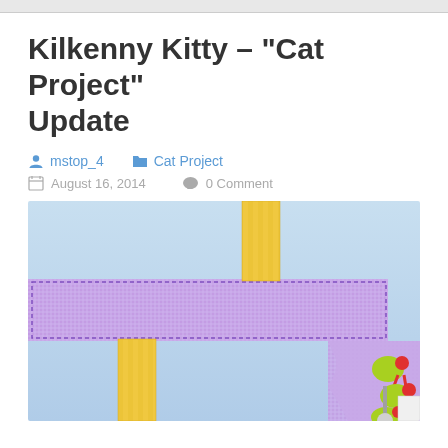Kilkenny Kitty – "Cat Project" Update
mstop_4   Cat Project
August 16, 2014   0 Comment
[Figure (screenshot): Screenshot of a 2D platform game showing a light blue sky background, a purple textured horizontal platform/ground block with dotted outline, yellow-striped vertical pillars, and small cartoon mice characters in yellow-green and red on the right side.]